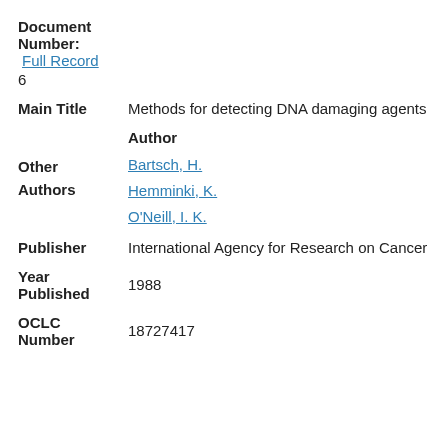Document Number: Full Record
6
Main Title   Methods for detecting DNA damaging agents
Author
Other Authors   Bartsch, H.   Hemminki, K.   O'Neill, I. K.
Publisher   International Agency for Research on Cancer
Year Published   1988
OCLC Number   18727417